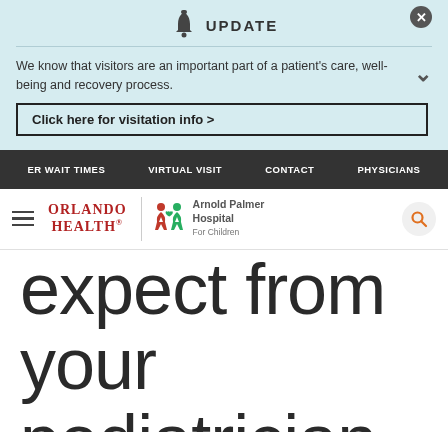UPDATE
We know that visitors are an important part of a patient's care, well-being and recovery process.
Click here for visitation info >
ER WAIT TIMES | VIRTUAL VISIT | CONTACT | PHYSICIANS
[Figure (logo): Orlando Health | Arnold Palmer Hospital For Children logo with hamburger menu and search icon]
expect from your pediatrician (Part 2 of 2)